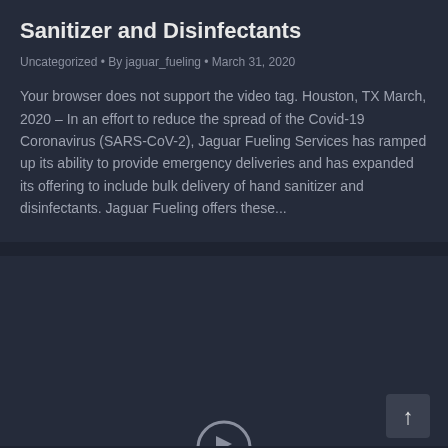Sanitizer and Disinfectants
Uncategorized • By jaguar_fueling • March 31, 2020
Your browser does not support the video tag. Houston, TX March, 2020 – In an effort to reduce the spread of the Covid-19 Coronavirus (SARS-CoV-2), Jaguar Fueling Services has ramped up its ability to provide emergency deliveries and has expanded its offering to include bulk delivery of hand sanitizer and disinfectants. Jaguar Fueling offers these...
[Figure (screenshot): Dark background video embed area with a play button circle visible at the bottom center and a scroll-to-top arrow button at the bottom right.]